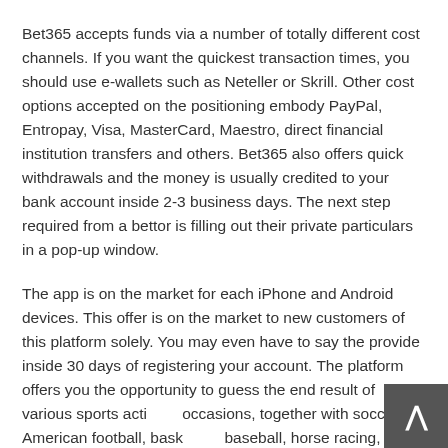Bet365 accepts funds via a number of totally different cost channels. If you want the quickest transaction times, you should use e-wallets such as Neteller or Skrill. Other cost options accepted on the positioning embody PayPal, Entropay, Visa, MasterCard, Maestro, direct financial institution transfers and others. Bet365 also offers quick withdrawals and the money is usually credited to your bank account inside 2-3 business days. The next step required from a bettor is filling out their private particulars in a pop-up window.
The app is on the market for each iPhone and Android devices. This offer is on the market to new customers of this platform solely. You may even have to say the provide inside 30 days of registering your account. The platform offers you the opportunity to guess the end result of various sports activities occasions, together with soccer, American football, basketball, horse racing, and tons of others. There is even a